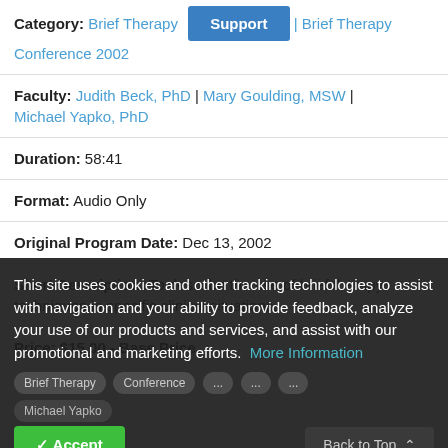Category: Brief Therapy | Brief Therapy Conference 2002
Faculty: Judith Beck, PhD | Mary Goulding, MSW | Michael Yapko, PhD
Duration: 58:41
Format: Audio Only
Original Program Date: Dec 13, 2002
Short Description: To describe the use of brief therapy techniques in specific clinical situations.
Price: $15.00 - Base Price
This site uses cookies and other tracking technologies to assist with navigation and your ability to provide feedback, analyze your use of our products and services, and assist with our promotional and marketing efforts. More Information
Accept | Back to Top